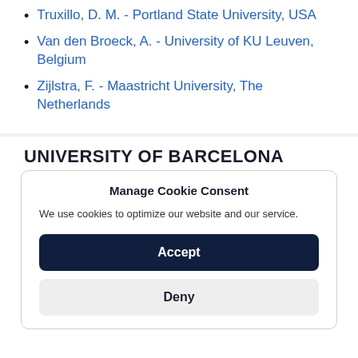Truxillo, D. M. - Portland State University, USA
Van den Broeck, A. - University of KU Leuven, Belgium
Zijlstra, F. - Maastricht University, The Netherlands
UNIVERSITY OF BARCELONA
Manage Cookie Consent
We use cookies to optimize our website and our service.
Accept
Deny